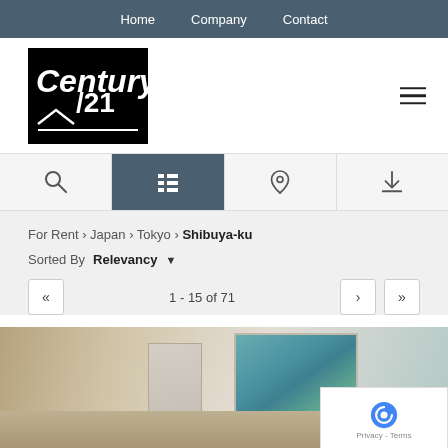Home   Company   Contact
[Figure (logo): Century 21 logo — white text on black background]
[Figure (other): Hamburger menu icon (three horizontal lines)]
[Figure (other): Toolbar with four icons: search, list view (active/highlighted), map pin, download]
For Rent › Japan › Tokyo › Shibuya-ku
Sorted By   Relevancy ▾
1 - 15 of 71
[Figure (photo): Interior photo of an unfurnished room with light walls, a window showing green trees outside, and light wood flooring]